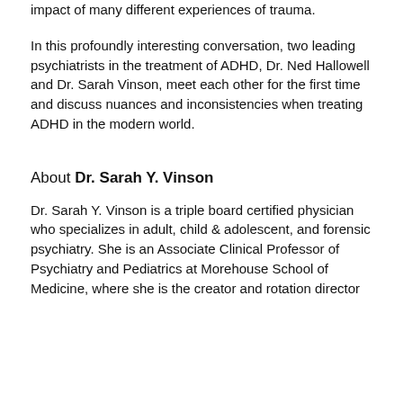impact of many different experiences of trauma.
In this profoundly interesting conversation, two leading psychiatrists in the treatment of ADHD, Dr. Ned Hallowell and Dr. Sarah Vinson, meet each other for the first time and discuss nuances and inconsistencies when treating ADHD in the modern world.
About Dr. Sarah Y. Vinson
Dr. Sarah Y. Vinson is a triple board certified physician who specializes in adult, child & adolescent, and forensic psychiatry. She is an Associate Clinical Professor of Psychiatry and Pediatrics at Morehouse School of Medicine, where she is the creator and rotation director